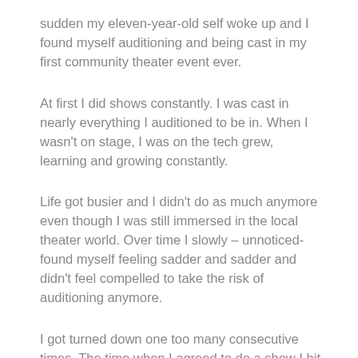sudden my eleven-year-old self woke up and I found myself auditioning and being cast in my first community theater event ever.
At first I did shows constantly. I was cast in nearly everything I auditioned to be in. When I wasn't on stage, I was on the tech grew, learning and growing constantly.
Life got busier and I didn't do as much anymore even though I was still immersed in the local theater world. Over time I slowly – unnoticed- found myself feeling sadder and sadder and didn't feel compelled to take the risk of auditioning anymore.
I got turned down one too many consecutive times. The time when I agreed to do a show I hit obstacles in